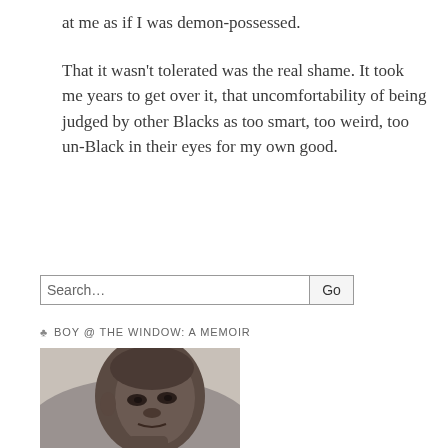at me as if I was demon-possessed.
That it wasn't tolerated was the real shame. It took me years to get over it, that uncomfortability of being judged by other Blacks as too smart, too weird, too un-Black in their eyes for my own good.
Search...
♣ BOY @ THE WINDOW: A MEMOIR
[Figure (photo): Black and white portrait photo of a young Black male, close-up of face, looking slightly to the side]